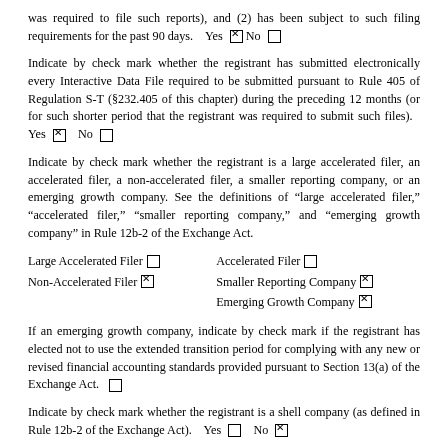was required to file such reports), and (2) has been subject to such filing requirements for the past 90 days.    Yes ☒ No ☐
Indicate by check mark whether the registrant has submitted electronically every Interactive Data File required to be submitted pursuant to Rule 405 of Regulation S-T (§232.405 of this chapter) during the preceding 12 months (or for such shorter period that the registrant was required to submit such files).    Yes ☒    No ☐
Indicate by check mark whether the registrant is a large accelerated filer, an accelerated filer, a non-accelerated filer, a smaller reporting company, or an emerging growth company. See the definitions of "large accelerated filer," "accelerated filer," "smaller reporting company," and "emerging growth company" in Rule 12b-2 of the Exchange Act.
Large Accelerated Filer ☐    Accelerated Filer ☐
Non-Accelerated Filer ☒    Smaller Reporting Company ☒
                                    Emerging Growth Company ☒
If an emerging growth company, indicate by check mark if the registrant has elected not to use the extended transition period for complying with any new or revised financial accounting standards provided pursuant to Section 13(a) of the Exchange Act.  ☐
Indicate by check mark whether the registrant is a shell company (as defined in Rule 12b-2 of the Exchange Act).    Yes ☐    No ☒
The registrant had 13,231,333 shares of common stock outstanding on August